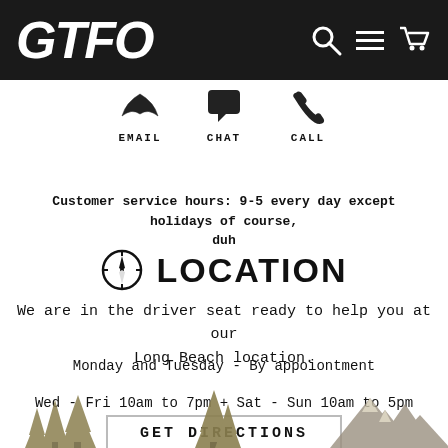GTFO
[Figure (illustration): Three contact method icons: email envelope, chat bubble, phone call handset]
EMAIL    CHAT    CALL
Customer service hours: 9-5 every day except holidays of course, duh
LOCATION
We are in the driver seat ready to help you at our Long Beach location.
Monday and Tuesday - By appoiontment
Wed - Fri 10am to 7pm + Sat - Sun 10am to 5pm
GET DIRECTIONS
[Figure (illustration): Decorative outdoor scene with pine trees and mountains in olive/tan color at bottom of page]